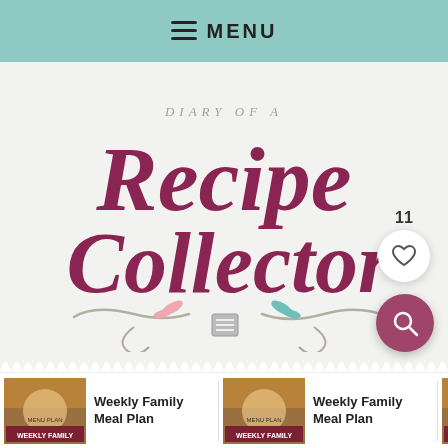≡ MENU
[Figure (logo): Diary of a Recipe Collector — decorative cursive/script logo with swashes and recipe card illustration]
11
Weekly Family Meal Plan
Weekly Family Meal Plan
We...